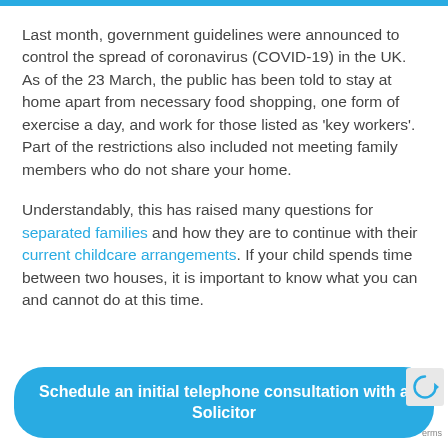Last month, government guidelines were announced to control the spread of coronavirus (COVID-19) in the UK. As of the 23 March, the public has been told to stay at home apart from necessary food shopping, one form of exercise a day, and work for those listed as 'key workers'. Part of the restrictions also included not meeting family members who do not share your home.
Understandably, this has raised many questions for separated families and how they are to continue with their current childcare arrangements. If your child spends time between two houses, it is important to know what you can and cannot do at this time.
[Figure (other): Blue rounded button with white bold text: Schedule an initial telephone consultation with a Solicitor]